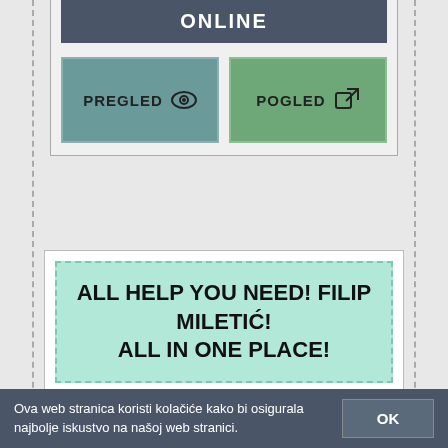ONLINE
[Figure (screenshot): Two buttons: PREGLED (teal) with eye icon and POGLED (green) with external link icon]
ALL HELP YOU NEED! FILIP MILETIĆ! ALL IN ONE PLACE!
https://www.helpwire.com/seek?...
HelpWire is the ultimate one-stop shop for people of all expertise levels looking for help on all kind of topics -- tech, shopping and more.
Ova web stranica koristi kolačiće kako bi osigurala najbolje iskustvo na našoj web stranici.